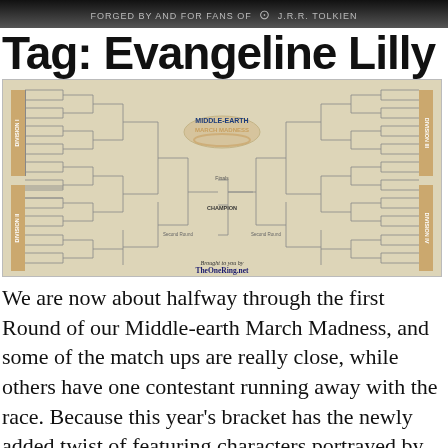FORGED BY AND FOR FANS OF J.R.R. TOLKIEN
Tag: Evangeline Lilly
[Figure (other): Middle-Earth March Madness tournament bracket image, showing four divisions (Division I, II, III, IV) with multiple rounds leading to a Champion. Brought to you by TheOneRing.net]
We are now about halfway through the first Round of our Middle-earth March Madness, and some of the match ups are really close, while others have one contestant running away with the race. Because this year's bracket has the newly added twist of featuring characters portrayed by the actors who brought our